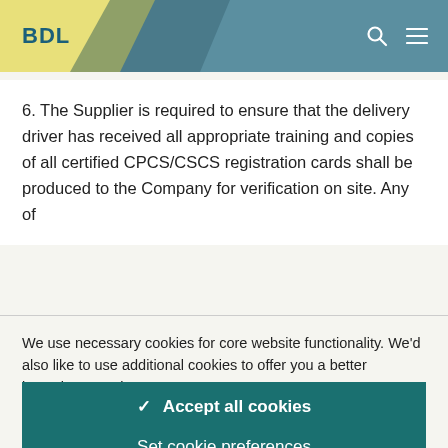BDL
6. The Supplier is required to ensure that the delivery driver has received all appropriate training and copies of all certified CPCS/CSCS registration cards shall be produced to the Company for verification on site. Any of
We use necessary cookies for core website functionality. We'd also like to use additional cookies to offer you a better browsing experience.
Accept all cookies
Set cookie preferences